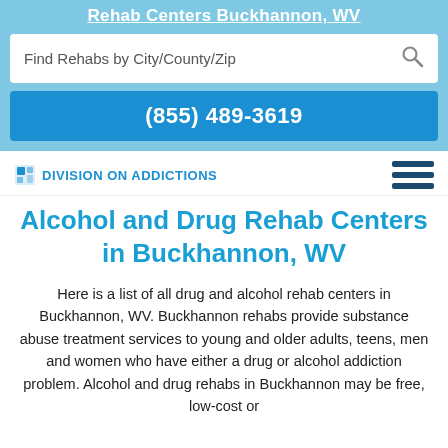Rehab Centers Buckhannon, WV
Find Rehabs by City/County/Zip
(855) 489-3619
Division On Addictions
Alcohol and Drug Rehab Centers in Buckhannon, WV
Here is a list of all drug and alcohol rehab centers in Buckhannon, WV. Buckhannon rehabs provide substance abuse treatment services to young and older adults, teens, men and women who have either a drug or alcohol addiction problem. Alcohol and drug rehabs in Buckhannon may be free, low-cost or